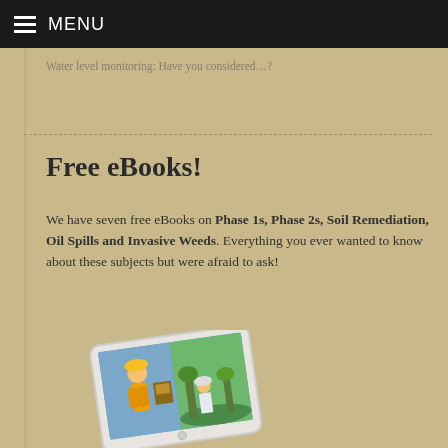MENU
Water level monitoring: Have you considered…?
Free eBooks!
We have seven free eBooks on Phase 1s, Phase 2s, Soil Remediation, Oil Spills and Invasive Weeds. Everything you ever wanted to know about these subjects but were afraid to ask!
[Figure (photo): Tablet device displaying eBook cover with construction workers and environmental scenes]